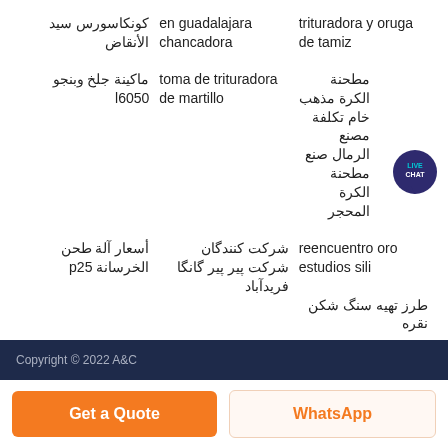كونكاسورس سيد الأنقاض
en guadalajara chancadora
trituradora y oruga de tamiz
ماكينة جلخ وبنجو l6050
toma de trituradora de martillo
مطحنة الكرة مذهب خام تكلفة مصنع الرمال صنع مطحنة الكرة المحجر
أسعار آلة طحن الخرسانة p25
شركت كنندگان شركت پیر پیر گانگا فریدآباد
reencuentro oro estudios sili
طرز تهیه سنگ شكن نقره
Google
[Figure (illustration): Live Chat speech bubble icon in teal/dark blue with text LIVE CHAT]
Copyright © 2022 A&C
Get a Quote
WhatsApp